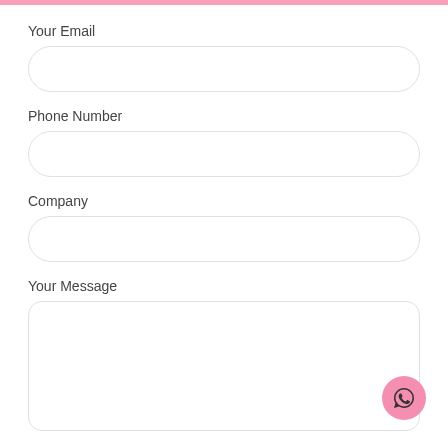Your Email
Phone Number
Company
Your Message
[Figure (illustration): WhatsApp chat bubble icon on a pink circular button, positioned at bottom right]